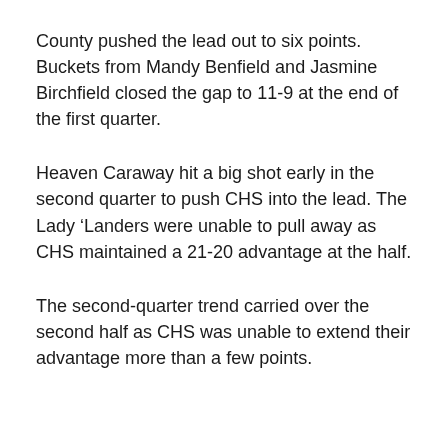County pushed the lead out to six points. Buckets from Mandy Benfield and Jasmine Birchfield closed the gap to 11-9 at the end of the first quarter.
Heaven Caraway hit a big shot early in the second quarter to push CHS into the lead. The Lady ‘Landers were unable to pull away as CHS maintained a 21-20 advantage at the half.
The second-quarter trend carried over the second half as CHS was unable to extend their advantage more than a few points.